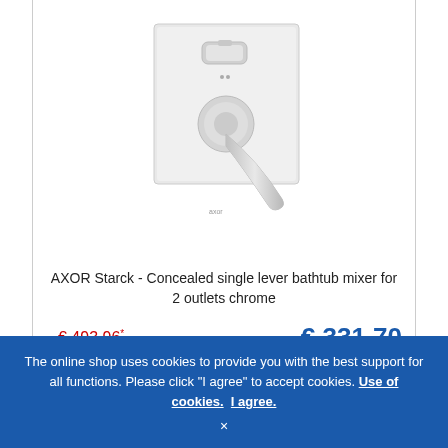[Figure (photo): Chrome concealed single lever bathtub mixer tap with square backplate - AXOR Starck product photo on white background]
AXOR Starck - Concealed single lever bathtub mixer for 2 outlets chrome
€ 493.96* (strikethrough price in red)
€ 331.70 (current price in blue)
Delivery time: approx. 1-2 weeks
Article no.: 12415000
The online shop uses cookies to provide you with the best support for all functions. Please click "I agree" to accept cookies. Use of cookies. I agree.